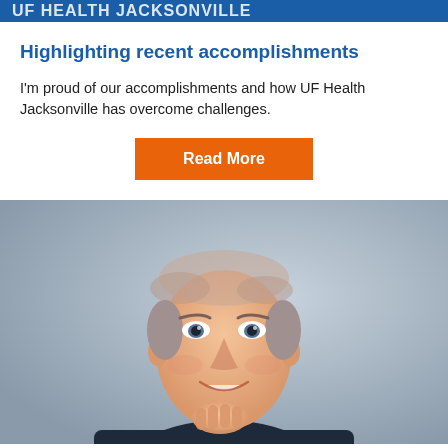UF HEALTH JACKSONVILLE
Highlighting recent accomplishments
I'm proud of our accomplishments and how UF Health Jacksonville has overcome challenges.
Read More
[Figure (photo): Professional headshot of an older gentleman in a dark suit with his hand raised to his chin, smiling, against a blue-grey gradient background.]